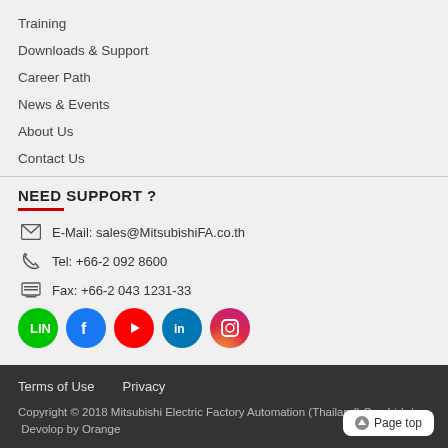Training
Downloads & Support
Career Path
News & Events
About Us
Contact Us
NEED SUPPORT ?
E-Mail: sales@MitsubishiFA.co.th
Tel: +66-2 092 8600
Fax: +66-2 043 1231-33
[Figure (illustration): Social media icons: LINE, Facebook, YouTube, LinkedIn, Instagram]
Terms of Use    Privacy
Copyright © 2018 Mitsubishi Electric Factory Automation (Thailand) Co., Ltd.  /  Devolop by Orange